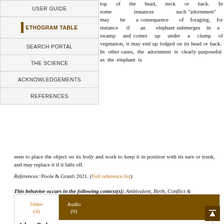USER GUIDE
ETHOGRAM TABLE
SEARCH PORTAL
THE SCIENCE
ACKNOWLEDGEMENTS
REFERENCES
top of the head, neck or back. In some instances such "adornment" may be a consequence of foraging, for instance if an elephant submerges in a swamp and comes up under a clump of vegetation, it may end up lodged on its head or back. In other cases, the adornment is clearly purposeful as the elephant is seen to place the object on its body and work to keep it in position with its ears or trunk, and may replace it if it falls off.
References: Poole & Granli 2021. (Full reference list)
This behavior occurs in the following context(s): Ambivalent, Birth, Conflict & Confrontation, Foraging & Comfort Technique, Lone & Object Play, Social Play
[Figure (other): Video (4) and Audio (0) media tabs for Adorn-Body behavior]
Adorn-Body